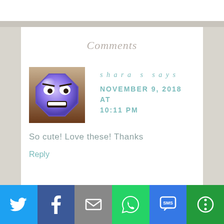Comments
shara s says
NOVEMBER 9, 2018 AT 10:11 PM
[Figure (illustration): Purple octagon emoji face with angry eyebrows and a smile, on a brown/tan background]
So cute! Love these! Thanks
Reply
[Figure (infographic): Social sharing bar with Twitter, Facebook, Email, WhatsApp, SMS, and More buttons]